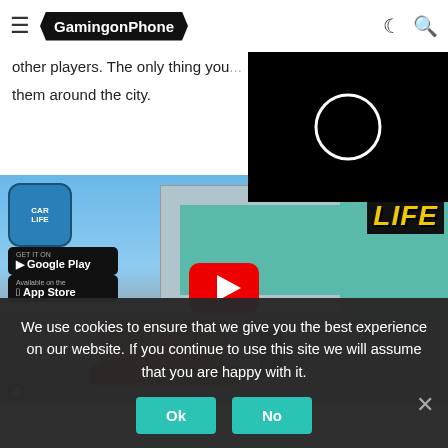GamingonPhone
Car Life is an open world mobile game that is available only in... the game comprises an open empty world. It has no traffic, passengers, and even more. And other players. The only thing you... them around the city.
[Figure (screenshot): Black video player loading screen with white circle spinner]
[Figure (screenshot): Car Life game screenshot showing open world city with red car, character, Google Play and App Store download buttons, YouTube play button overlay, CAR LIFE logo]
We use cookies to ensure that we give you the best experience on our website. If you continue to use this site we will assume that you are happy with it.